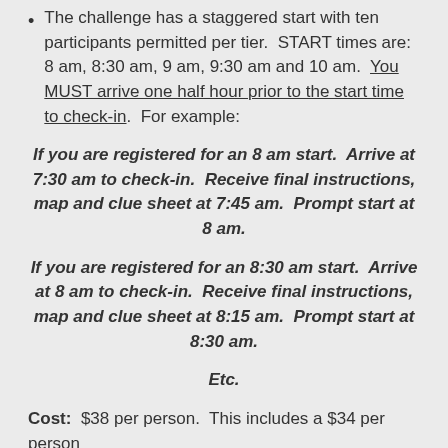The challenge has a staggered start with ten participants permitted per tier.  START times are: 8 am, 8:30 am, 9 am, 9:30 am and 10 am.  You MUST arrive one half hour prior to the start time to check-in.  For example:
If you are registered for an 8 am start.  Arrive at 7:30 am to check-in.  Receive final instructions, map and clue sheet at 7:45 am.  Prompt start at 8 am.
If you are registered for an 8:30 am start.  Arrive at 8 am to check-in.  Receive final instructions, map and clue sheet at 8:15 am.  Prompt start at 8:30 am.
Etc.
Cost:  $38 per person.  This includes a $34 per person